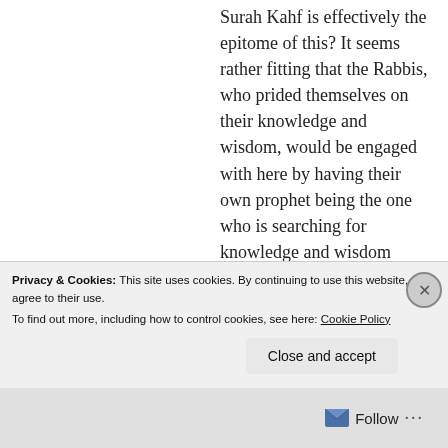Surah Kahf is effectively the epitome of this? It seems rather fitting that the Rabbis, who prided themselves on their knowledge and wisdom, would be engaged with here by having their own prophet being the one who is searching for knowledge and wisdom through another.

Also, would you also be so kind as to point me towards
Privacy & Cookies: This site uses cookies. By continuing to use this website, you agree to their use.
To find out more, including how to control cookies, see here: Cookie Policy
Close and accept
Follow